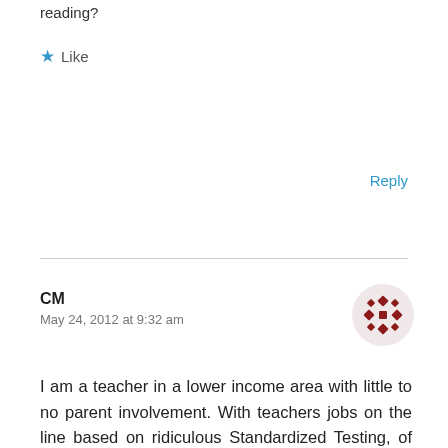reading?
★ Like
Reply
CM
May 24, 2012 at 9:32 am
[Figure (illustration): Avatar icon — dark red/maroon decorative geometric pattern circle]
I am a teacher in a lower income area with little to no parent involvement. With teachers jobs on the line based on ridiculous Standardized Testing, of course they have to force reading at home. AR is the easiest and in my opinion the paperless way to do this objective. My daughter would read over the summer enough books to reach 3/4 of her points needed for the year and then she would spend the entire year reading whatever she